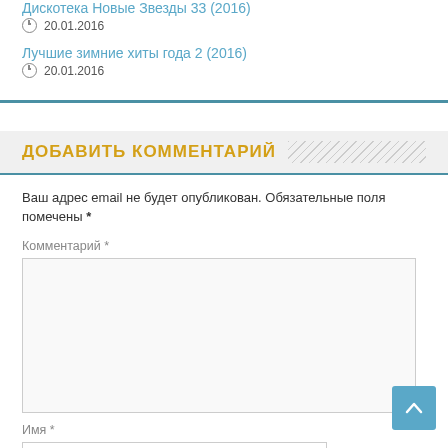Дискотека Новые Звезды 33 (2016)
20.01.2016
Лучшие зимние хиты года 2 (2016)
20.01.2016
ДОБАВИТЬ КОММЕНТАРИЙ
Ваш адрес email не будет опубликован. Обязательные поля помечены *
Комментарий *
Имя *